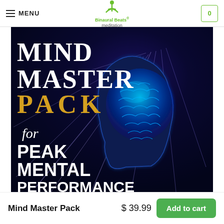MENU | Binaural Beats meditation | 0
[Figure (illustration): Mind Master Pack product image: dark blue background with glowing blue brain inside a human head silhouette, radiating light beams. Text overlaid: MIND MASTER PACK for PEAK MENTAL PERFORMANCE]
Mind Master Pack
$ 39.99
Add to cart